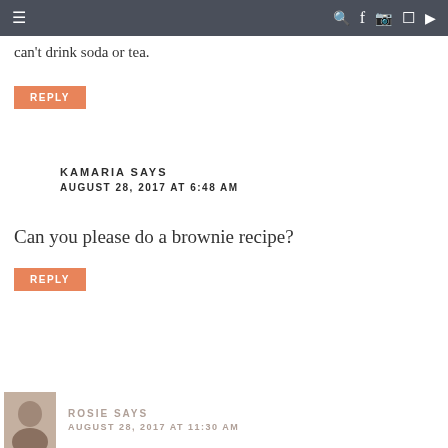Navigation bar with hamburger menu and social icons
can't drink soda or tea.
REPLY
KAMARIA SAYS
AUGUST 28, 2017 AT 6:48 AM
Can you please do a brownie recipe?
REPLY
ROSIE SAYS
AUGUST 28, 2017 AT 11:30 AM